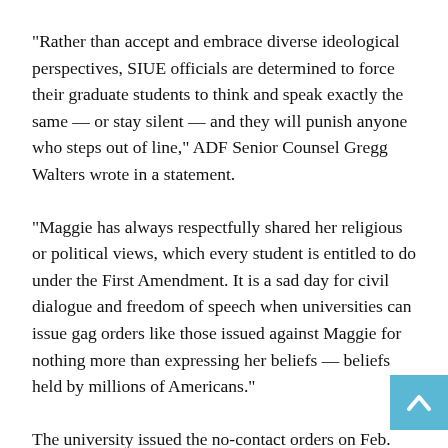“Rather than accept and embrace diverse ideological perspectives, SIUE officials are determined to force their graduate students to think and speak exactly the same — or stay silent — and they will punish anyone who steps out of line,” ADF Senior Counsel Gregg Walters wrote in a statement.
“Maggie has always respectfully shared her religious or political views, which every student is entitled to do under the First Amendment. It is a sad day for civil dialogue and freedom of speech when universities can issue gag orders like those issued against Maggie for nothing more than expressing her beliefs — beliefs held by millions of Americans.”
The university issued the no-contact orders on Feb. 10, which were rescinded two weeks later. With the three no-contact orders, DeJong was prohibited from having “any contact” or any “indirect or communication” contact with the three fellow students.